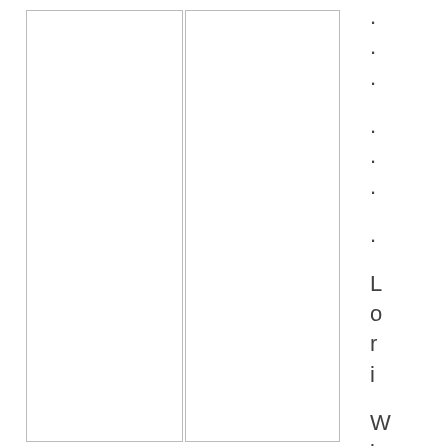... ... . Lori Wilson Fran
[Figure (other): Three vertical column boxes with bordered outlines, left and center columns empty, right side contains vertically stacked single characters spelling out '... ... . Lori Wilson Fran']